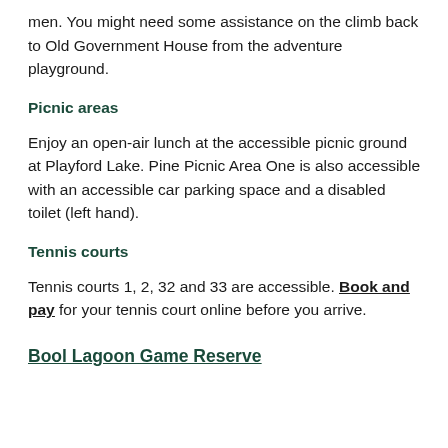men. You might need some assistance on the climb back to Old Government House from the adventure playground.
Picnic areas
Enjoy an open-air lunch at the accessible picnic ground at Playford Lake. Pine Picnic Area One is also accessible with an accessible car parking space and a disabled toilet (left hand).
Tennis courts
Tennis courts 1, 2, 32 and 33 are accessible. Book and pay for your tennis court online before you arrive.
Bool Lagoon Game Reserve